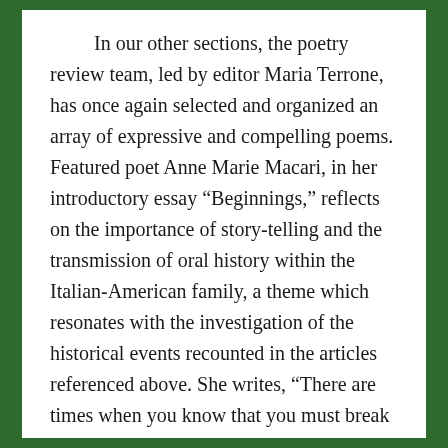In our other sections, the poetry review team, led by editor Maria Terrone, has once again selected and organized an array of expressive and compelling poems. Featured poet Anne Marie Macari, in her introductory essay “Beginnings,” reflects on the importance of story-telling and the transmission of oral history within the Italian-American family, a theme which resonates with the investigation of the historical events recounted in the articles referenced above. She writes, “There are times when you know that you must break open the narrative you have made of your life, to question the things you believe and